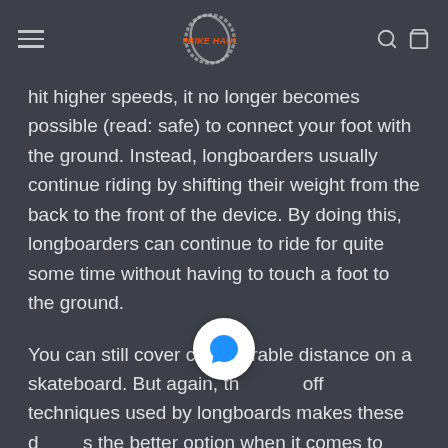EBIKE HAUL
hit higher speeds, it no longer becomes possible (read: safe) to connect your foot with the ground. Instead, longboarders usually continue riding by shifting their weight from the back to the front of the device. By doing this, longboarders can continue to ride for quite some time without having to touch a foot to the ground.
You can still cover considerable distance on a skateboard. But again, the push-off techniques used by longboards makes these devices the better option when it comes to long-range riding. It can quickly get